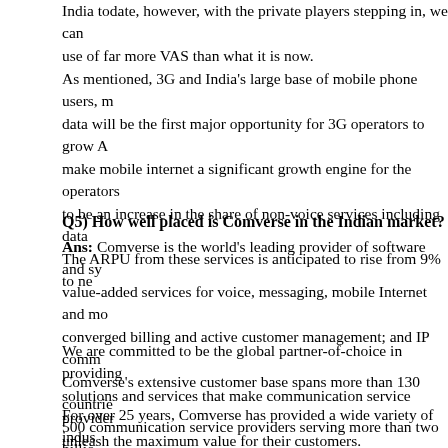India todate, however, with the private players stepping in, we can use of far more VAS than what it is now.
As mentioned, 3G and India's large base of mobile phone users, m data will be the first major opportunity for 3G operators to grow A make mobile internet a significant growth engine for the operators to be an increase in the share of non-voice services including data. The ARPU from these services is anticipated to rise from 9% to ne
Q5)  How well placed is Comverse in the Indian market?
Ans: Comverse is the world's leading provider of software and sy value-added services for voice, messaging, mobile Internet and mo converged billing and active customer management; and IP comm Comverse's extensive customer base spans more than 130 countrie 500 communication service providers serving more than two billio
We are committed to be the global partner-of-choice in providing solutions and services that make communication service provider unleash the maximum value for their customers.
For over 25 years, Comverse has provided a wide variety of indus for operators with subscriber bases of all sizes – from tier-1 carrie groups with global reach to emerging greenfield operators and ISP been achieved with a superior solution portfolio, high-quality prof and an extensive network of local support, including 90 offices in